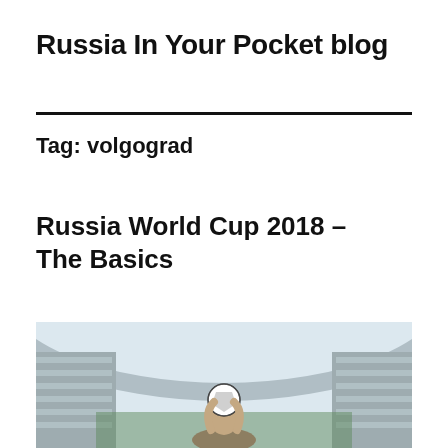Russia In Your Pocket blog
Tag: volgograd
Russia World Cup 2018 – The Basics
[Figure (photo): A person holding a soccer ball in a large stadium, viewed from inside with the stadium seating and roof structure visible overhead]